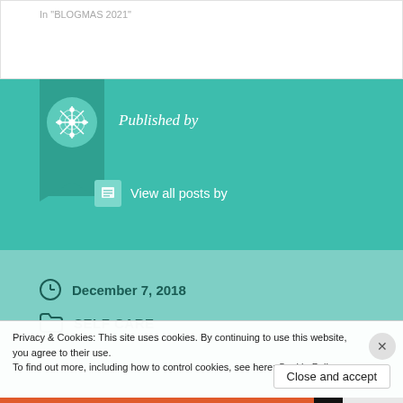In "BLOGMAS 2021"
[Figure (illustration): Teal/dark-teal bookmark banner with decorative snowflake avatar circle and 'Published by' text]
Published by
View all posts by
December 7, 2018
SELF CARE
Privacy & Cookies: This site uses cookies. By continuing to use this website, you agree to their use.
To find out more, including how to control cookies, see here: Cookie Policy
Close and accept